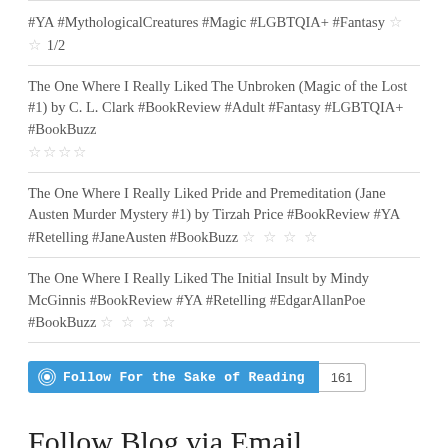#YA #MythologicalCreatures #Magic #LGBTQIA+ #Fantasy ☆☆ 1/2
The One Where I Really Liked The Unbroken (Magic of the Lost #1) by C. L. Clark #BookReview #Adult #Fantasy #LGBTQIA+ #BookBuzz ☆☆☆☆
The One Where I Really Liked Pride and Premeditation (Jane Austen Murder Mystery #1) by Tirzah Price #BookReview #YA #Retelling #JaneAusten #BookBuzz ☆☆☆☆
The One Where I Really Liked The Initial Insult by Mindy McGinnis #BookReview #YA #Retelling #EdgarAllanPoe #BookBuzz ☆☆☆☆
Follow For the Sake of Reading 161
Follow Blog via Email
Enter your email address to follow this blog and receive notifications of new posts by email.